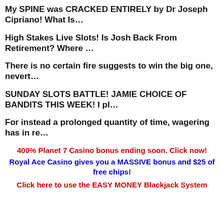My SPINE was CRACKED ENTIRELY by Dr Joseph Cipriano! What Is…
High Stakes Live Slots! Is Josh Back From Retirement? Where …
There is no certain fire suggests to win the big one, nevert…
SUNDAY SLOTS BATTLE! JAMIE CHOICE OF BANDITS THIS WEEK! I pl…
For instead a prolonged quantity of time, wagering has in re…
400% Planet 7 Casino bonus ending soon. Click now!
Royal Ace Casino gives you a MASSIVE bonus and $25 of free chips!
Click here to use the EASY MONEY Blackjack System